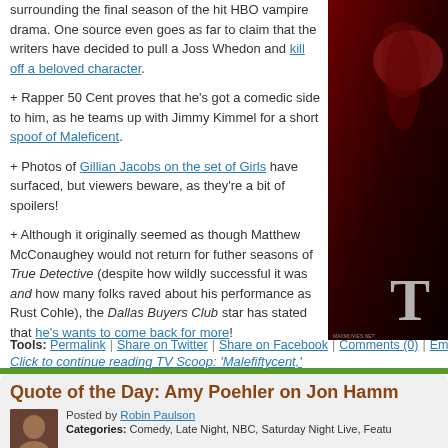surrounding the final season of the hit HBO vampire drama. One source even goes as far to claim that the writers have decided to pull a Joss Whedon and kill off a beloved character.
+ Rapper 50 Cent proves that he's got a comedic side to him, as he teams up with Jimmy Kimmel for a short spoof of Maleficent.
+ Photos of Gillian Jacobs on the set of Girls have surfaced, but viewers beware, as they're a bit of spoilers!
+ Although it originally seemed as though Matthew McConaughey would not return for futher seasons of True Detective (despite how wildly successful it was and how many folks raved about his performance as Rust Cohle), the Dallas Buyers Club star has stated that he's wants to come back for more!
Click to continue reading TV Scoop: 'Malefiftycent,' Gillian Jacobs on 'Girls,' 'True Blood' Tidbits
Tools: Permalink | Share on Twitter | Share on Facebook | Comments (0) | Email th
[Figure (photo): A dark red/crimson dramatic image, partially visible on the right side of the page, appears to show a figure with a large T letter visible at the bottom right.]
Quote of the Day: Amy Poehler on Jon Hamm
Posted by Robin Paulson
Categories: Comedy, Late Night, NBC, Saturday Night Live, Featu